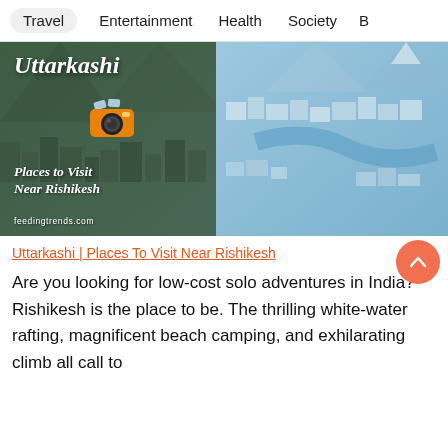Travel   Entertainment   Health   Society   B
[Figure (photo): Composite travel article header image for Uttarkashi showing aerial view of a hilly Indian town. Left half shows darkened aerial city view with italic script text overlay reading 'Uttarkashi', a camera icon, 'Places to Visit Near Rishikesh', and 'feedingtrends.com'. Right half shows bright aerial view of Uttarkashi town with river and dense buildings.]
Uttarkashi | Places To Visit Near Rishikesh
Are you looking for low-cost solo adventures in India? Rishikesh is the place to be. The thrilling white-water rafting, magnificent beach camping, and exhilarating climb all call to